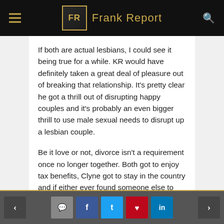Frank Report
If both are actual lesbians, I could see it being true for a while. KR would have definitely taken a great deal of pleasure out of breaking that relationship. It's pretty clear he got a thrill out of disrupting happy couples and it's probably an even bigger thrill to use male sexual needs to disrupt up a lesbian couple.
Be it love or not, divorce isn't a requirement once no longer together. Both got to enjoy tax benefits, Clyne got to stay in the country and if either ever found someone else to marry, they could divorce then. No real urgency involved if no animosity or greed driving their decision-making. It's the love turned to hate that usually
< [comment] [f] [t] [pinterest] [in] >